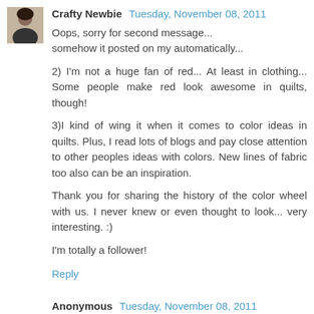[Figure (photo): Avatar photo of a woman with dark hair]
Crafty Newbie  Tuesday, November 08, 2011
Oops, sorry for second message... somehow it posted on my automatically...

2) I'm not a huge fan of red... At least in clothing... Some people make red look awesome in quilts, though!

3)I kind of wing it when it comes to color ideas in quilts. Plus, I read lots of blogs and pay close attention to other peoples ideas with colors. New lines of fabric too also can be an inspiration.

Thank you for sharing the history of the color wheel with us. I never knew or even thought to look... very interesting. :)

I'm totally a follower!
Reply
Anonymous  Tuesday, November 08, 2011
My favorite color is either blue or green for quilts. Probably